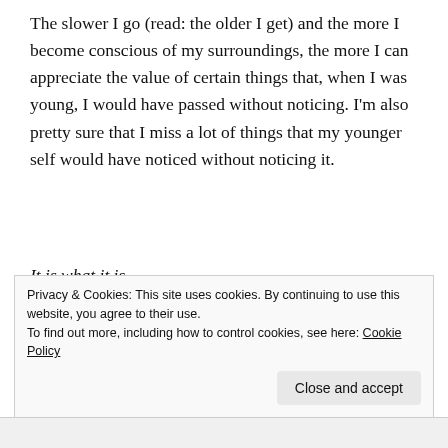The slower I go (read: the older I get) and the more I become conscious of my surroundings, the more I can appreciate the value of certain things that, when I was young, I would have passed without noticing. I'm also pretty sure that I miss a lot of things that my younger self would have noticed without noticing it.
It is what it is.
Hey! It's Friday again! Who'd have thought? (God, I can ramble sometimes.) My son has just made us some nice coffee and brought me a big mug of it, and my wife just
Privacy & Cookies: This site uses cookies. By continuing to use this website, you agree to their use.
To find out more, including how to control cookies, see here: Cookie Policy